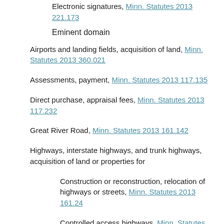Electronic signatures, Minn. Statutes 2013 221.173
Eminent domain
Airports and landing fields, acquisition of land, Minn. Statutes 2013 360.021
Assessments, payment, Minn. Statutes 2013 117.135
Direct purchase, appraisal fees, Minn. Statutes 2013 117.232
Great River Road, Minn. Statutes 2013 161.142
Highways, interstate highways, and trunk highways, acquisition of land or properties for
Construction or reconstruction, relocation of highways or streets, Minn. Statutes 2013 161.24
Controlled access highways, Minn. Statutes 2013 160.08
Easements, acquisition of fee title to land, Minn.